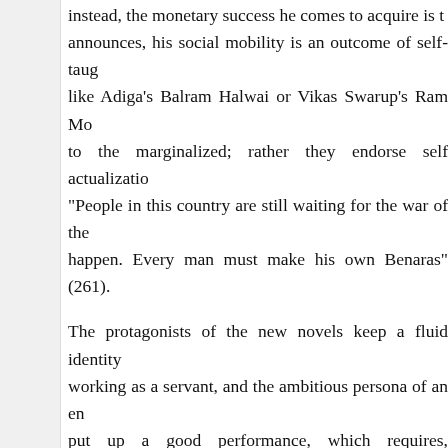instead, the monetary success he comes to acquire is t... announces, his social mobility is an outcome of self-taug... like Adiga's Balram Halwai or Vikas Swarup's Ram Mo... to the marginalized; rather they endorse self actualizatio... "People in this country are still waiting for the war of the... happen. Every man must make his own Benaras" (261).
The protagonists of the new novels keep a fluid identity... working as a servant, and the ambitious persona of an en... put up a good performance, which requires, "ingenuity",... citizen and an entrepreneur as he readily assumes the id... village tea shop as well as a chauffeur and house servant... service company in Bangalore.
Balram is also able to dismiss his own caste identity wi... subservient, helpless underclass. Acing the tenets of soc... successful entrepreneur. In his own words, he rejects the... were one thousand castes and destinies in India. These d... up" (54).
Balram considers himself a rare species (evolved), a wh...